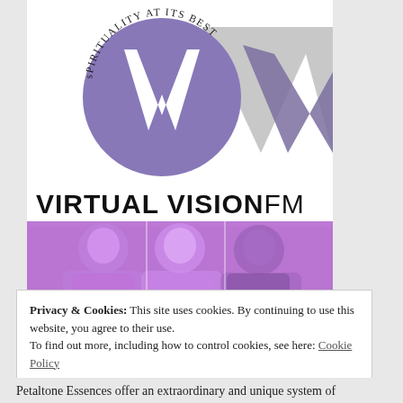[Figure (logo): Virtual Vision FM logo: a large purple circle with a white 'V' letter and curved text 'SPIRITUALITY AT ITS BEST' around the top, with a geometric grey/purple stylized 'W' shape extending to the right]
VIRTUAL VISIONFM
[Figure (photo): A horizontal strip of three purple-tinted headshot photos: a smiling young man on the left, a smiling woman in the middle, and an older man on the right]
Privacy & Cookies: This site uses cookies. By continuing to use this website, you agree to their use.
To find out more, including how to control cookies, see here: Cookie Policy
Close and accept
Petaltone Essences offer an extraordinary and unique system of